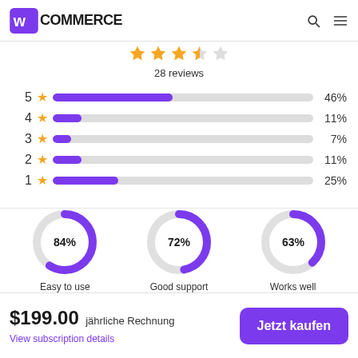WooCommerce
[Figure (other): Star rating display showing 3.5 out of 5 stars (4 stars filled, 1 empty)]
28 reviews
[Figure (bar-chart): Rating distribution]
[Figure (donut-chart): Easy to use / Good support / Works well]
$199.00 jährliche Rechnung
View subscription details
Jetzt kaufen